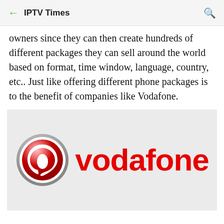IPTV Times
owners since they can then create hundreds of different packages they can sell around the world based on format, time window, language, country, etc.. Just like offering different phone packages is to the benefit of companies like Vodafone.
[Figure (logo): Vodafone logo: red speech mark circle icon on left, 'vodafone' wordmark in red on right, on a light grey background]